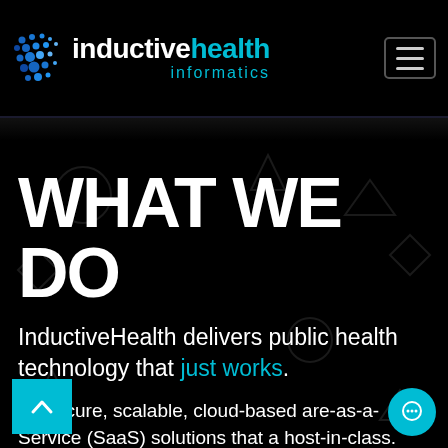[Figure (logo): InductiveHealth Informatics logo with blue dot pattern icon and teal/cyan text]
WHAT WE DO
InductiveHealth delivers public health technology that just works.
fer secure, scalable, cloud-based are-as-a-Service (SaaS) solutions that a host-in-class. Our solutions are advancing